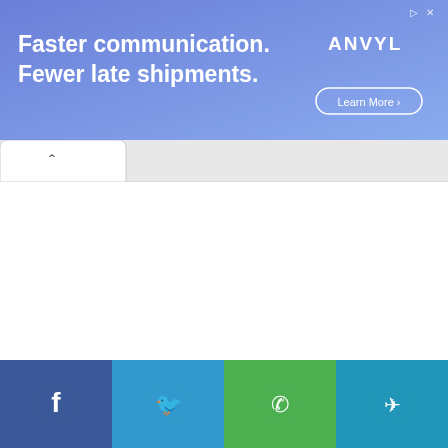[Figure (infographic): Ad banner with blue/purple gradient background. Text says 'Faster communication. Fewer late shipments.' on the left. ANVYL logo and 'Learn More >' button on the right.]
[Figure (screenshot): Browser tab bar with an open white tab showing a chevron/up arrow icon.]
[Figure (logo): Jobs on Monster advertisement block. Text 'Jobs on' above the Monster logo in purple and teal lettering.]
[Figure (infographic): Bottom social sharing bar with four buttons: Facebook (blue), Twitter (cyan/blue), WhatsApp (green), Telegram (teal/blue), each with their respective icons.]